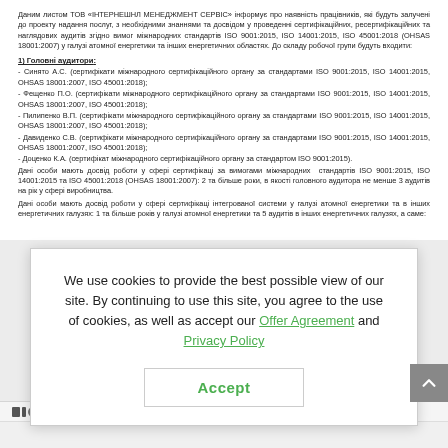Даним листом ТОВ «ІНТЕРНЕШНЛ МЕНЕДЖМЕНТ СЕРВІС» інформує про наявність працівників, які будуть залучені до проекту надання послуг, з необхідними знаннями та досвідом у проведенні сертифікаційних, ресертифікаційних та наглядових аудитів згідно вимог міжнародних стандартів ISO 9001:2015, ISO 14001:2015, ISO 45001:2018 (OHSAS 18001:2007) у галузі атомної енергетики та інших енергетичних областях. До складу робочої групи будуть входити:
1) Головні аудитори:
- Синято А.С. (сертифікати міжнародного сертифікаційного органу за стандартами ISO 9001:2015, ISO 14001:2015, OHSAS 18001:2007, ISO 45001:2018);
- Фещенко П.О. (сертифікати міжнародного сертифікаційного органу за стандартами ISO 9001:2015, ISO 14001:2015, OHSAS 18001:2007, ISO 45001:2018);
- Пилипенко В.П. (сертифікати міжнародного сертифікаційного органу за стандартами ISO 9001:2015, ISO 14001:2015, OHSAS 18001:2007, ISO 45001:2018);
- Давиденко С.В. (сертифікати міжнародного сертифікаційного органу за стандартами ISO 9001:2015, ISO 14001:2015, OHSAS 18001:2007, ISO 45001:2018);
- Доценко К.А. (сертифікат міжнародного сертифікаційного органу за стандартом ISO 9001:2015).
Дані особи мають досвід роботи у сфері сертифікаці за вимогами міжнародних стандартів ISO 9001:2015, ISO 14001:2015 та ISO 45001:2018 (OHSAS 18001:2007): 2 та більше роки, в якості головного аудитора не менше 3 аудитів на рік у сфері виробництва.
Дані особи мають досвід роботи у сфері сертифікаці інтегрованої системи у галузі атомної енергетики та в інших енергетичних галузях: 1 та більше років у галузі атомної енергетики та 5 аудитів в інших енергетичних галузях, а саме:
[Figure (screenshot): Cookie consent overlay modal on a Ukrainian document website. Text reads: 'We use cookies to provide the best possible view of our site. By continuing to use this site, you agree to the use of cookies, as well as accept our Offer Agreement and Privacy Policy' with an Accept button.]
Державна інспекція ядерного регулювання